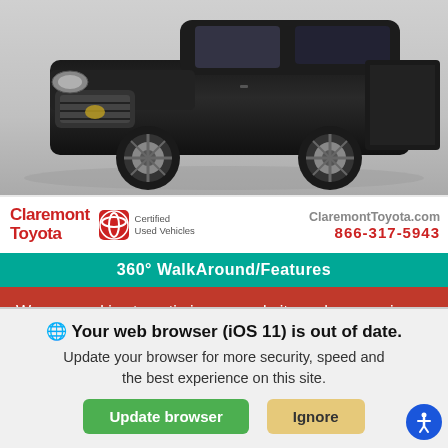[Figure (photo): Black 2021 Toyota Tacoma TRD Sport pickup truck on a gray background, front 3/4 view]
Claremont Toyota | ClaremontToyota.com | 866-317-5943 | Certified Used Vehicles
360° WalkAround/Features
Certified Used 2021 Toyota Tacoma 4X2 TRD Sport
We use cookies to optimize our website and our service.
Cookie Policy  Privacy Statement
Your web browser (iOS 11) is out of date. Update your browser for more security, speed and the best experience on this site.
Update browser   Ignore